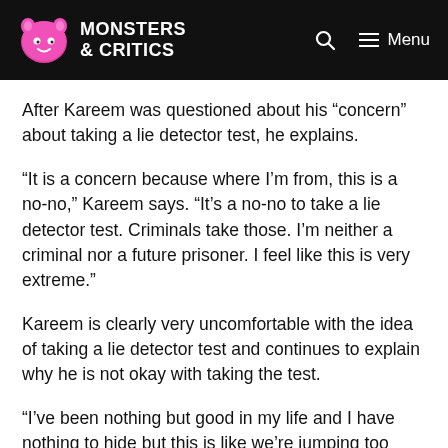Monsters & Critics
After Kareem was questioned about his “concern” about taking a lie detector test, he explains.
“It is a concern because where I’m from, this is a no-no,” Kareem says. “It’s a no-no to take a lie detector test. Criminals take those. I’m neither a criminal nor a future prisoner. I feel like this is very extreme.”
Kareem is clearly very uncomfortable with the idea of taking a lie detector test and continues to explain why he is not okay with taking the test.
“I’ve been nothing but good in my life and I have nothing to hide but this is like we’re jumping too